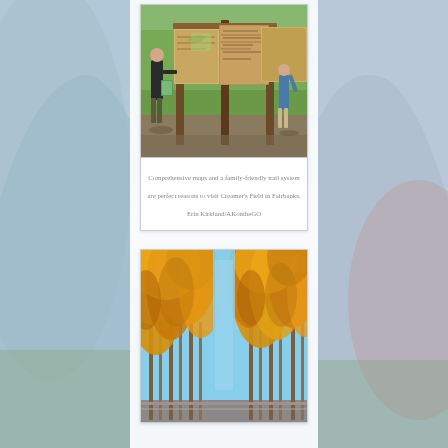[Figure (photo): Two people at an outdoor trail information kiosk with wooden posts and informational signs, green grassy field in background, Creamer's Field in Fairbanks]
Comprehensive maps and a family-friendly trail system are perfect reasons to visit Creamer's Field in Fairbanks. Erin Kirkland/AKontheGO
[Figure (photo): Looking up at golden/orange autumn aspen or cottonwood trees against a blue sky]